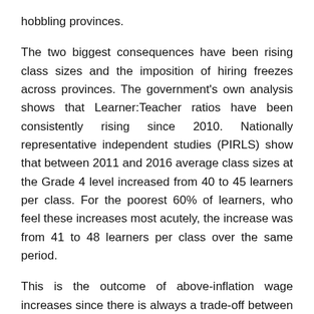hobbling provinces.
The two biggest consequences have been rising class sizes and the imposition of hiring freezes across provinces. The government's own analysis shows that Learner:Teacher ratios have been consistently rising since 2010. Nationally representative independent studies (PIRLS) show that between 2011 and 2016 average class sizes at the Grade 4 level increased from 40 to 45 learners per class. For the poorest 60% of learners, who feel these increases most acutely, the increase was from 41 to 48 learners per class over the same period.
This is the outcome of above-inflation wage increases since there is always a trade-off between head-counts (the number of teachers employed) and salaries (what you pay them). That means larger class sizes and fewer personnel